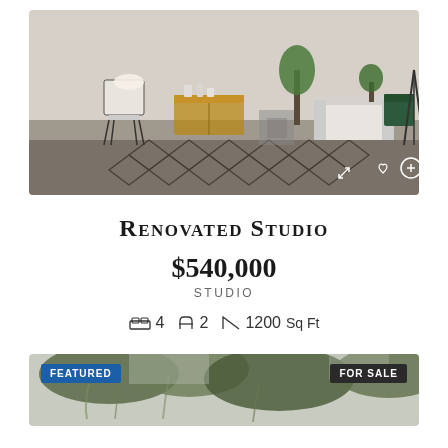[Figure (photo): Interior photo of a modern studio apartment with white walls, chairs, wooden furniture, plants, rugs, and decorative items. Expand, heart, and plus icons visible at bottom right.]
Renovated Studio
$540,000
STUDIO
4  2  1200 Sq Ft
[Figure (photo): Exterior photo partially visible showing trees with Spanish moss. Badges: FEATURED (blue, bottom left) and FOR SALE (dark, bottom right).]